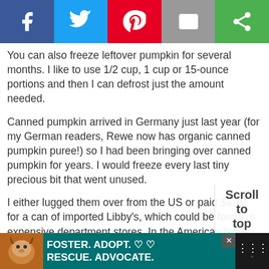[Figure (other): Social media share bar with Facebook (blue), Twitter (light blue), Pinterest (red), Email (grey), and a green share button]
You can also freeze leftover pumpkin for several months. I like to use 1/2 cup, 1 cup or 15-ounce portions and then I can defrost just the amount needed.
Canned pumpkin arrived in Germany just last year (for my German readers, Rewe now has organic canned pumpkin puree!) so I had been bringing over canned pumpkin for years. I would freeze every last tiny precious bit that went unused.
I either lugged them over from the US or paid $4.70 for a can of imported Libby's, which could be found in expensive department stores. In the American foods section, of course.
[Figure (other): Advertisement banner: FOSTER. ADOPT. RESCUE. ADVOCATE. with a dog photo on a teal background]